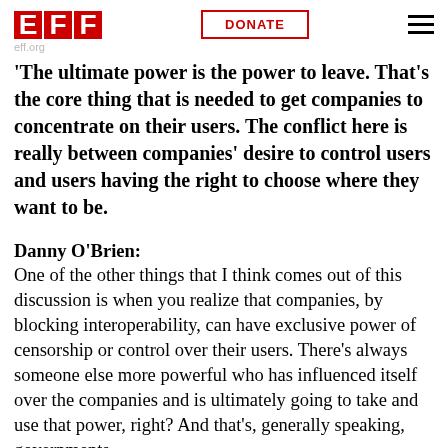EFF | DONATE
The ultimate power is the power to leave. That's the core thing that is needed to get companies to concentrate on their users. The conflict here is really between companies' desire to control users and users having the right to choose where they want to be.
Danny O'Brien:
One of the other things that I think comes out of this discussion is when you realize that companies, by blocking interoperability, can have exclusive power of censorship or control over their users. There's always someone else more powerful who has influenced itself over the companies and is ultimately going to take and use that power, right? And that's, generally speaking, governments.